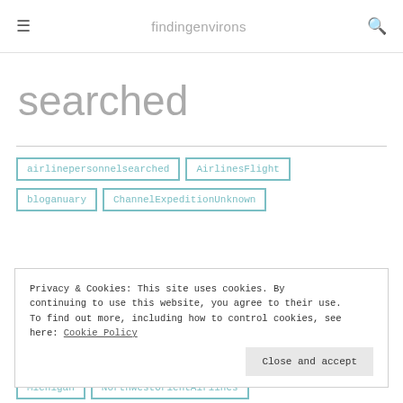≡  findingenvirons  🔍
searched
airlinepersonnelsearched
AirlinesFlight
bloganuary
ChannelExpeditionUnknown
Privacy & Cookies: This site uses cookies. By continuing to use this website, you agree to their use. To find out more, including how to control cookies, see here: Cookie Policy
Close and accept
Michigan
NorthwestOrientAirlines